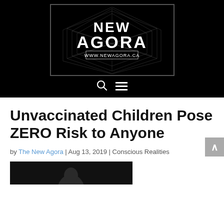[Figure (logo): New Agora logo with geometric diamond pattern on black background, text 'NEW AGORA' and 'www.NewAgora.ca']
[Figure (screenshot): Navigation bar icons: search (magnifying glass) and hamburger menu, on black background]
Unvaccinated Children Pose ZERO Risk to Anyone
by The New Agora | Aug 13, 2019 | Conscious Realities
[Figure (photo): Partial photo of a person against dark background, bottom portion cut off]